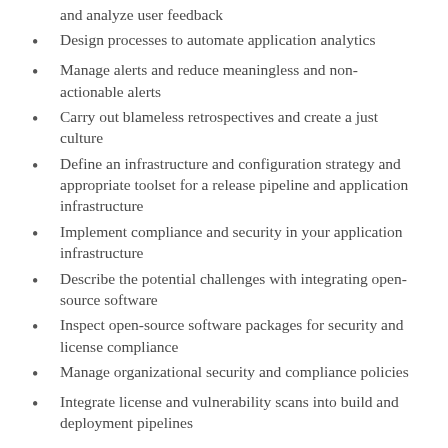and analyze user feedback
Design processes to automate application analytics
Manage alerts and reduce meaningless and non-actionable alerts
Carry out blameless retrospectives and create a just culture
Define an infrastructure and configuration strategy and appropriate toolset for a release pipeline and application infrastructure
Implement compliance and security in your application infrastructure
Describe the potential challenges with integrating open-source software
Inspect open-source software packages for security and license compliance
Manage organizational security and compliance policies
Integrate license and vulnerability scans into build and deployment pipelines